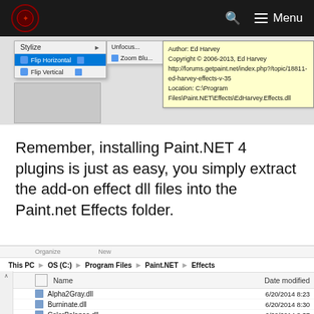Menu
[Figure (screenshot): Paint.NET context menu showing Stylize, Flip Horizontal, Flip Vertical options, with a tooltip popup showing Ed Harvey plugin info: Author: Ed Harvey, Copyright 2006-2013 Ed Harvey, URL, and file location C:\Program Files\Paint.NET\Effects\EdHarvey.Effects.dll]
Remember, installing Paint.NET 4 plugins is just as easy, you simply extract the add-on effect dll files into the Paint.net Effects folder.
[Figure (screenshot): Windows Explorer showing the Paint.NET Effects folder path: This PC > OS (C:) > Program Files > Paint.NET > Effects, with files listed: Alpha2Gray.dll (6/20/2014 8:23), Burninate.dll (6/20/2014 8:30), ColorBalance.dll (6/20/2014 8:37), Dream.dll (6/20/2014 8:42), EdHarvey.Effects.dll (6/30/2014 1:41), EdHarvey.Effects.pdb (6/30/2014 1:41)]